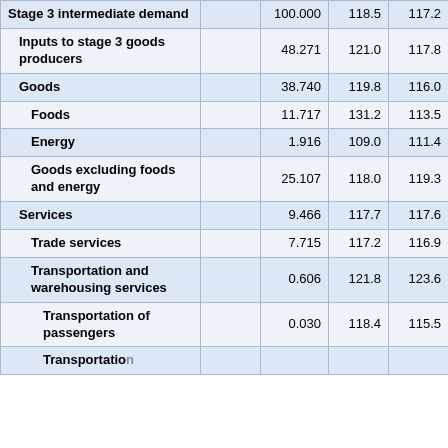| Category |  | Weight | Col4 | Col5 | Col6 |
| --- | --- | --- | --- | --- | --- |
| Stage 3 intermediate demand |  | 100.000 | 118.5 | 117.2 | 11... |
| Inputs to stage 3 goods producers |  | 48.271 | 121.0 | 117.8 | 12... |
| Goods |  | 38.740 | 119.8 | 116.0 | 11... |
| Foods |  | 11.717 | 131.2 | 113.5 | 11... |
| Energy |  | 1.916 | 109.0 | 111.4 | 11... |
| Goods excluding foods and energy |  | 25.107 | 118.0 | 119.3 | 12... |
| Services |  | 9.466 | 117.7 | 117.6 | 11... |
| Trade services |  | 7.715 | 117.2 | 116.9 | 11... |
| Transportation and warehousing services |  | 0.606 | 121.8 | 123.6 | 12... |
| Transportation of passengers |  | 0.030 | 118.4 | 115.5 | 11... |